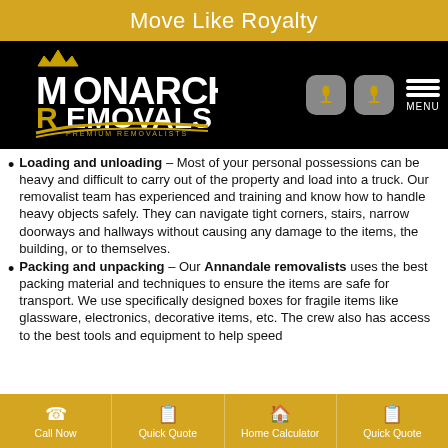Move Like Royalty
[Figure (logo): Monarch Removals – Premium Removalists logo with stylized M and R in gold on black background, with navigation icons and MENU button]
Loading and unloading – Most of your personal possessions can be heavy and difficult to carry out of the property and load into a truck. Our removalist team has experienced and training and know how to handle heavy objects safely. They can navigate tight corners, stairs, narrow doorways and hallways without causing any damage to the items, the building, or to themselves.
Packing and unpacking – Our Annandale removalists uses the best packing material and techniques to ensure the items are safe for transport. We use specifically designed boxes for fragile items like glassware, electronics, decorative items, etc. The crew also has access to the best tools and equipment to help speed
Call Now | Quick Quote | Home Calculator | Quick Quote